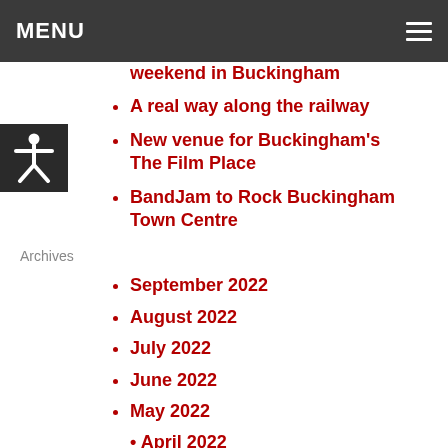MENU
[Figure (illustration): Accessibility icon: white human figure silhouette on dark background]
weekend in Buckingham
A real way along the railway
New venue for Buckingham's The Film Place
BandJam to Rock Buckingham Town Centre
Archives
September 2022
August 2022
July 2022
June 2022
May 2022
April 2022